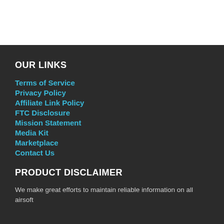OUR LINKS
Terms of Service
Privacy Policy
Affiliate Link Policy
FTC Disclosure
Mission Statement
Media Kit
Marketplace
Contact Us
PRODUCT DISCLAIMER
We make great efforts to maintain reliable information on all airsoft